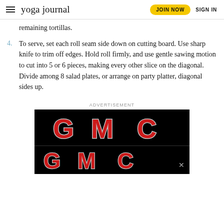yoga journal | JOIN NOW | SIGN IN
remaining tortillas.
4. To serve, set each roll seam side down on cutting board. Use sharp knife to trim off edges. Hold roll firmly, and use gentle sawing motion to cut into 5 or 6 pieces, making every other slice on the diagonal. Divide among 8 salad plates, or arrange on party platter, diagonal sides up.
ADVERTISEMENT
[Figure (logo): GMC logo advertisement on black background, shown twice — large GMC lettering in red with chrome/silver outline on black, repeated in a stacked ad unit]